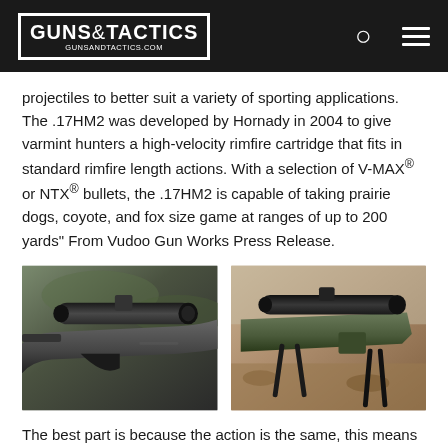GUNS&TACTICS GUNSANDTACTICS.COM
projectiles to better suit a variety of sporting applications. The .17HM2 was developed by Hornady in 2004 to give varmint hunters a high-velocity rimfire cartridge that fits in standard rimfire length actions. With a selection of V-MAX® or NTX® bullets, the .17HM2 is capable of taking prairie dogs, coyote, and fox size game at ranges of up to 200 yards" From Vudoo Gun Works Press Release.
[Figure (photo): Close-up photo of a bolt-action rifle with a scope mounted on top, grey/dark finish, shown from the left side]
[Figure (photo): Photo of a green/olive colored precision rifle on a tripod/bipod in an outdoor desert setting]
The best part is because the action is the same, this means